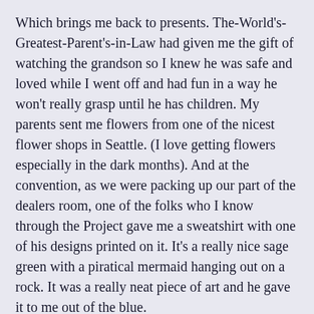Which brings me back to presents.  The-World's-Greatest-Parent's-in-Law had given me the gift of watching the grandson so I knew he was safe and loved while I went off and had fun in a way he won't really grasp until he has children.  My parents sent me flowers from one of the nicest flower shops in Seattle. (I love getting flowers especially in the dark months).  And at the convention, as we were packing up our part of the dealers room, one of the folks who I know through the Project gave me a sweatshirt with one of his designs printed on it.  It's a really nice sage green with a piratical mermaid hanging out on a rock.  It was a really neat piece of art and he gave it to me out of the blue.
I was thrilled.  It made me feel warm and fuzzy.  I think it had much more impact than the giver may have known.  I wore it for the rest of the day and thought happy thoughts.
Spending that weekend with friends, and friends of friends,